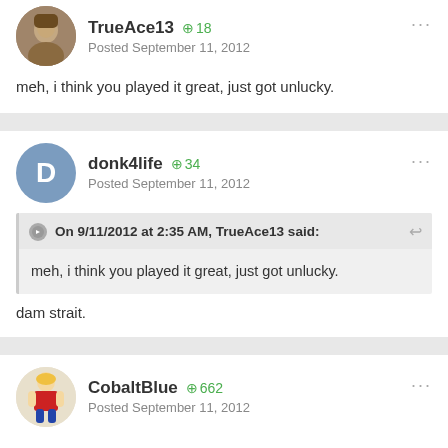TrueAce13 +18 Posted September 11, 2012
meh, i think you played it great, just got unlucky.
donk4life +34 Posted September 11, 2012
On 9/11/2012 at 2:35 AM, TrueAce13 said: meh, i think you played it great, just got unlucky.
dam strait.
CobaltBlue +662 Posted September 11, 2012